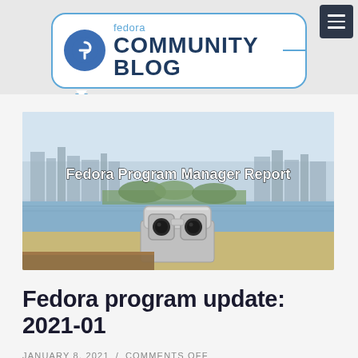[Figure (logo): Fedora Community Blog logo with circular Fedora icon and speech bubble design]
[Figure (photo): Outdoor photo with city skyline and binoculars in foreground, overlaid with text 'Fedora Program Manager Report']
Fedora program update: 2021-01
JANUARY 8, 2021 / COMMENTS OFF